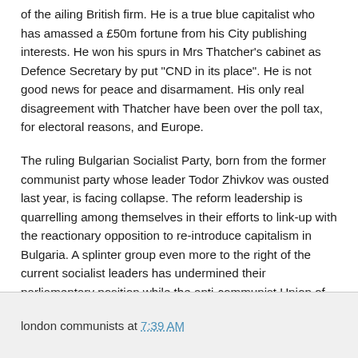of the ailing British firm. He is a true blue capitalist who has amassed a £50m fortune from his City publishing interests. He won his spurs in Mrs Thatcher's cabinet as Defence Secretary by put "CND in its place". He is not good news for peace and disarmament. His only real disagreement with Thatcher have been over the poll tax, for electoral reasons, and Europe.
The ruling Bulgarian Socialist Party, born from the former communist party whose leader Todor Zhivkov was ousted last year, is facing collapse. The reform leadership is quarrelling among themselves in their efforts to link-up with the reactionary opposition to re-introduce capitalism in Bulgaria. A splinter group even more to the right of the current socialist leaders has undermined their parliamentary position while the anti-communist Union of Democratic Forces is refusing to go into coalition unless they get the choice of ministries and the premiership.
london communists at 7:39 AM